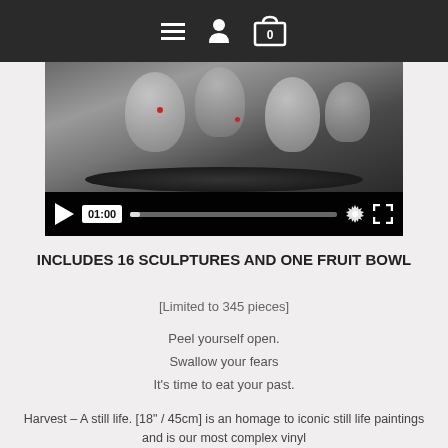Navigation header with menu, user, and cart icons
[Figure (screenshot): Video player showing 3D sculpture artwork — white animal sculptures in a bowl, with video controls showing play button, timestamp 01:00, progress bar, settings gear, and fullscreen icons]
INCLUDES 16 SCULPTURES AND ONE FRUIT BOWL
[Limited to 345 pieces]
Peel yourself open.
Swallow your fears
It's time to eat your past.
Harvest – A still life. [18" / 45cm] is an homage to iconic still life paintings and is our most complex vinyl